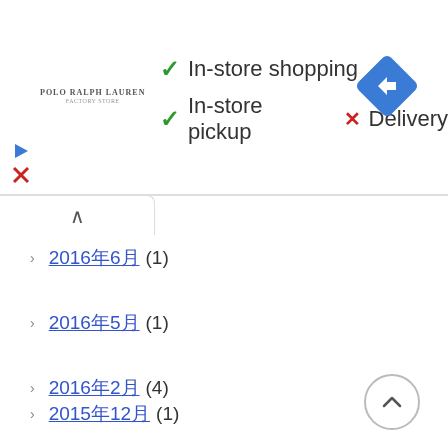[Figure (screenshot): Google Maps store info bar showing: green checkmarks for In-store shopping and In-store pickup, red X for Delivery. Navigation diamond icon on right. Store logo on left.]
2016年6月 (1)
2016年5月 (1)
2016年2月 (4)
2015年12月 (1)
2015年9月 (4)
2015年8月 (14)
2015年7月 (4)
2015年6月 (11)
2015年5月 (13)
2015年4月 (25)